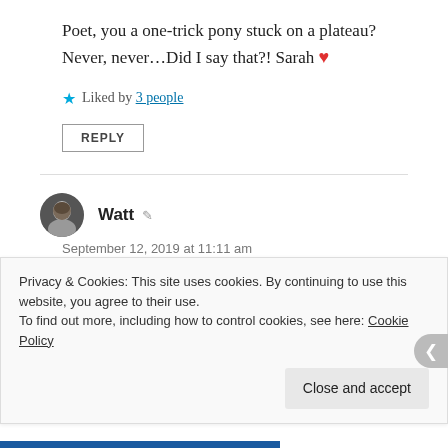Poet, you a one-trick pony stuck on a plateau? Never, never…Did I say that?! Sarah ❤️
★ Liked by 3 people
REPLY
Watt
September 12, 2019 at 11:11 am
Sarah used an emoji? 🙈
Thank you so so much!!!! It means a lot to me. You never said that, and I don't feel that I am. As I said, I'm a
Privacy & Cookies: This site uses cookies. By continuing to use this website, you agree to their use.
To find out more, including how to control cookies, see here: Cookie Policy
Close and accept